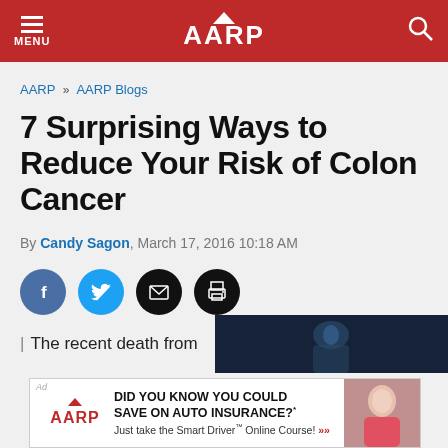MENU  AARP
AARP » AARP Blogs
7 Surprising Ways to Reduce Your Risk of Colon Cancer
By Candy Sagon, March 17, 2016 10:18 AM
[Figure (infographic): Social sharing icons: Facebook, Twitter, Email, Print]
| The recent death from
[Figure (photo): Medical image showing neck/body scan in blue tones on dark background]
[Figure (infographic): AARP advertisement banner: DID YOU KNOW YOU COULD SAVE ON AUTO INSURANCE? Just take the Smart Driver Online Course!]